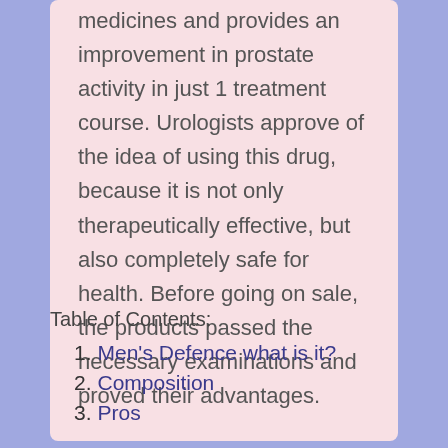medicines and provides an improvement in prostate activity in just 1 treatment course. Urologists approve of the idea of using this drug, because it is not only therapeutically effective, but also completely safe for health. Before going on sale, the products passed the necessary examinations and proved their advantages.
Table of Contents:
1. Men's Defence what is it?
2. Composition
3. Pros